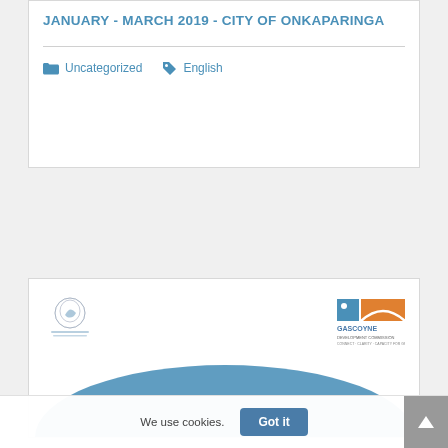JANUARY - MARCH 2019 - CITY OF ONKAPARINGA
Uncategorized   English
[Figure (logo): Government of Western Australia coat of arms logo on the left and Gascoyne Development Commission logo on the right, with a large blue arc/dome shape below]
We use cookies.